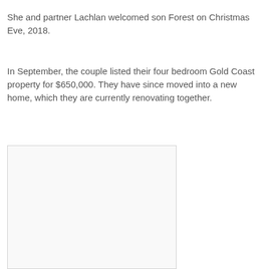She and partner Lachlan welcomed son Forest on Christmas Eve, 2018.
In September, the couple listed their four bedroom Gold Coast property for $650,000. They have since moved into a new home, which they are currently renovating together.
[Figure (photo): A white/blank image placeholder with light border]